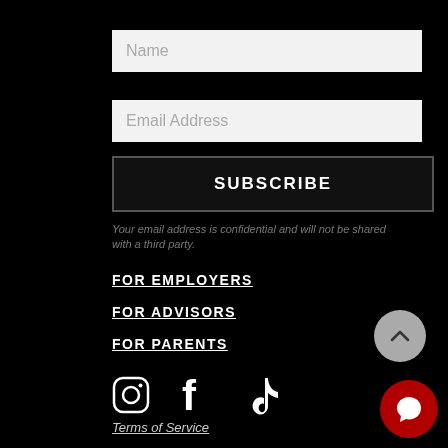Name
Email Address
SUBSCRIBE
Your email address is confidential and will not be shared with a third party.
FOR EMPLOYERS
FOR ADVISORS
FOR PARENTS
[Figure (illustration): Social media icons: Instagram, Facebook, TikTok]
Terms of Service
Privacy Policy